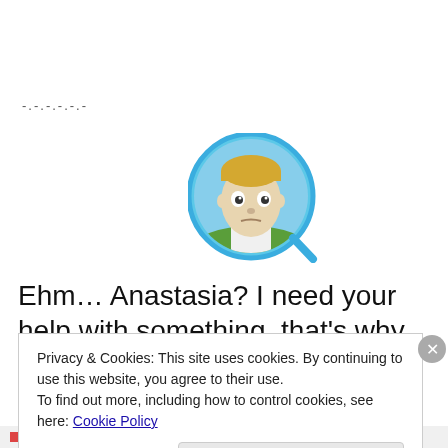-.-.-.-.-.-
[Figure (illustration): Cartoon/3D rendered face of a blonde male character inside a circular blue magnifying glass frame, with a green landscape background.]
Ehm… Anastasia? I need your help with something, that's why we're here.
Privacy & Cookies: This site uses cookies. By continuing to use this website, you agree to their use.
To find out more, including how to control cookies, see here: Cookie Policy
Close and accept